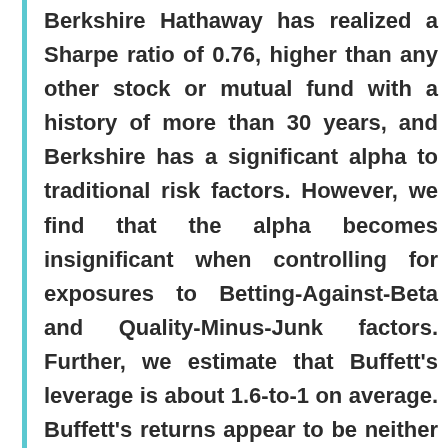Berkshire Hathaway has realized a Sharpe ratio of 0.76, higher than any other stock or mutual fund with a history of more than 30 years, and Berkshire has a significant alpha to traditional risk factors. However, we find that the alpha becomes insignificant when controlling for exposures to Betting-Against-Beta and Quality-Minus-Junk factors. Further, we estimate that Buffett's leverage is about 1.6-to-1 on average. Buffett's returns appear to be neither luck nor magic, but, rather,